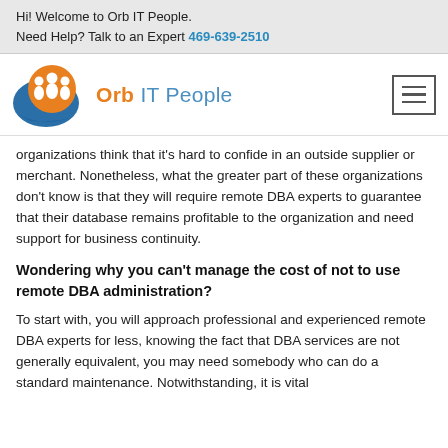Hi! Welcome to Orb IT People.
Need Help? Talk to an Expert 469-639-2510
[Figure (logo): Orb IT People logo with orange and blue orb graphic and company name text]
organizations think that it's hard to confide in an outside supplier or merchant. Nonetheless, what the greater part of these organizations don't know is that they will require remote DBA experts to guarantee that their database remains profitable to the organization and need support for business continuity.
Wondering why you can't manage the cost of not to use remote DBA administration?
To start with, you will approach professional and experienced remote DBA experts for less, knowing the fact that DBA services are not generally equivalent, you may need somebody who can do a standard maintenance. Notwithstanding, it is vital